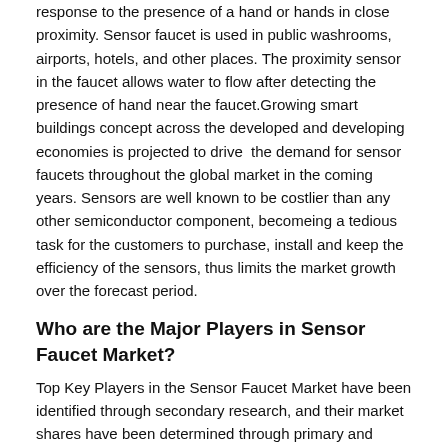response to the presence of a hand or hands in close proximity. Sensor faucet is used in public washrooms, airports, hotels, and other places. The proximity sensor in the faucet allows water to flow after detecting the presence of hand near the faucet.Growing smart buildings concept across the developed and developing economies is projected to drive  the demand for sensor faucets throughout the global market in the coming years. Sensors are well known to be costlier than any other semiconductor component, becomeing a tedious task for the customers to purchase, install and keep the efficiency of the sensors, thus limits the market growth over the forecast period.
Who are the Major Players in Sensor Faucet Market?
Top Key Players in the Sensor Faucet Market have been identified through secondary research, and their market shares have been determined through primary and secondary research. The global Sensor Faucet Market is fragmented with a large number of small players operating worldwide. The companies referred to in the